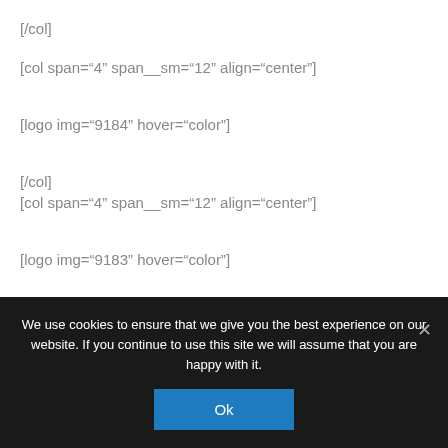[/col]
[col span="4" span__sm="12" align="center"]
[logo img="9184" hover="color"]
[/col]
[col span="4" span__sm="12" align="center"]
[logo img="9183" hover="color"]
[/col]
[col span="4" span__sm="12" align="center"]
We use cookies to ensure that we give you the best experience on our website. If you continue to use this site we will assume that you are happy with it.
Ok